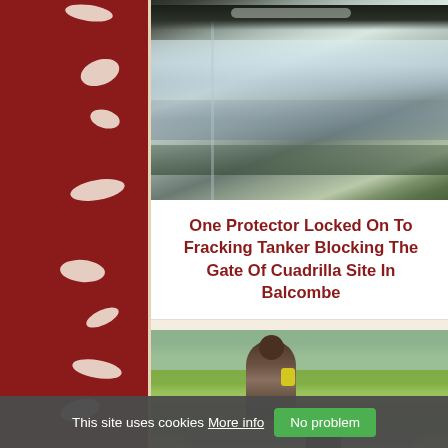[Figure (photo): Close-up photograph of a shiny metallic tanker truck surface reflecting sky and trees]
One Protector Locked On To Fracking Tanker Blocking The Gate Of Cuadrilla Site In Balcombe
[Figure (photo): Person sitting on top of a tanker truck with trees in background, appears to be a protest lockdown action]
This site uses cookies More info No problem